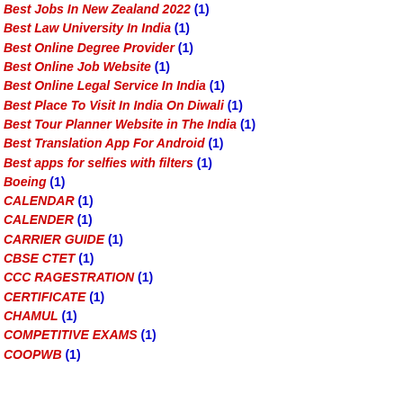Best Jobs In New Zealand 2022 (1)
Best Law University In India (1)
Best Online Degree Provider (1)
Best Online Job Website (1)
Best Online Legal Service In India (1)
Best Place To Visit In India On Diwali (1)
Best Tour Planner Website in The India (1)
Best Translation App For Android (1)
Best apps for selfies with filters (1)
Boeing (1)
CALENDAR (1)
CALENDER (1)
CARRIER GUIDE (1)
CBSE CTET (1)
CCC RAGESTRATION (1)
CERTIFICATE (1)
CHAMUL (1)
COMPETITIVE EXAMS (1)
COOPWB (1)